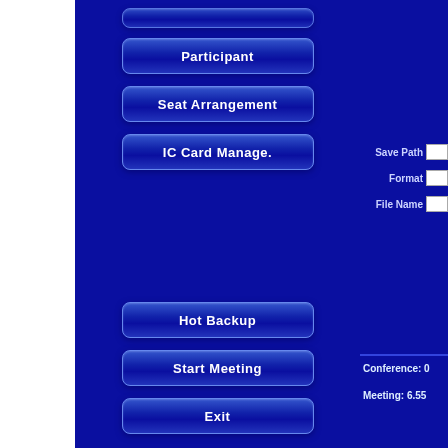[Figure (screenshot): Screenshot of a blue conference management software UI showing navigation buttons: Participant, Seat Arrangement, IC Card Manage., Hot Backup, Start Meeting, Exit on the left panel; and Save Path, Format, File Name fields with a Conference and Meeting info section on the right panel.]